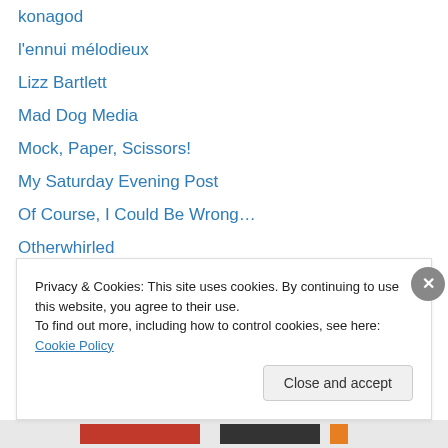konagod
l'ennui mélodieux
Lizz Bartlett
Mad Dog Media
Mock, Paper, Scissors!
My Saturday Evening Post
Of Course, I Could Be Wrong…
Otherwhirled
phantsythat
Phydeaux and Phriends
pidomons posts
Politits
Reflections on Faith
Shakesville
Privacy & Cookies: This site uses cookies. By continuing to use this website, you agree to their use. To find out more, including how to control cookies, see here: Cookie Policy
Close and accept